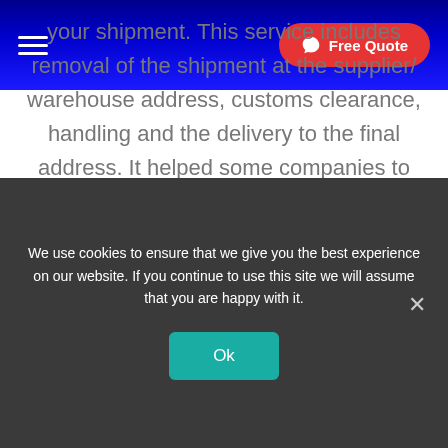Free Quote
your shipment. This service includes removal of the shipment at the supplier/warehouse address, customs clearance, handling and the delivery to the final address. It helped some companies to maximize the efficiency and the management exportation and
We use cookies to ensure that we give you the best experience on our website. If you continue to use this site we will assume that you are happy with it.